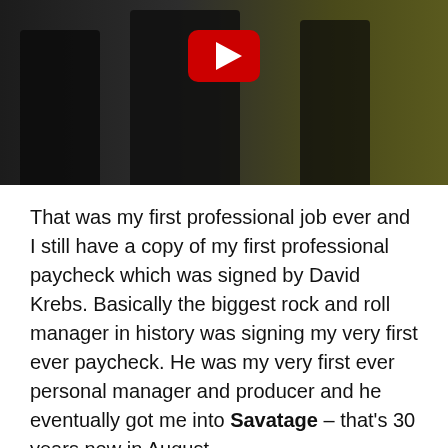[Figure (screenshot): Video thumbnail showing people in dark clothing with a YouTube play button overlay]
That was my first professional job ever and I still have a copy of my first professional paycheck which was signed by David Krebs. Basically the biggest rock and roll manager in history was signing my very first ever paycheck. He was my very first ever personal manager and producer and he eventually got me into Savatage – that's 30 years now in August.
I did my photos last Wednesday actually, and I posted one of them on my Facebook page. Somebody said to me "that's a great photo how old is it?" Like it was something from the past. And it's something that I took that week!